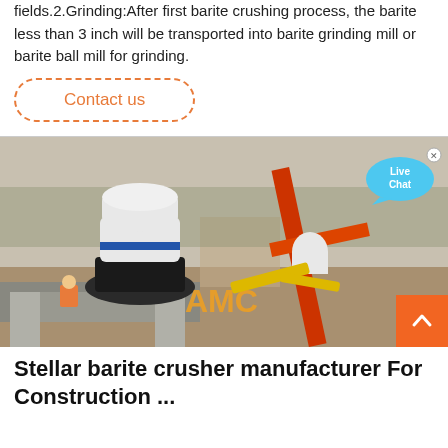fields.2.Grinding:After first barite crushing process, the barite less than 3 inch will be transported into barite grinding mill or barite ball mill for grinding.
Contact us
[Figure (photo): Construction site showing a large white cone crusher or similar heavy mining/crushing equipment mounted on a concrete platform, with an orange crane arm visible on the right and a worker in orange safety vest in the foreground. AMC logo watermark visible. Trees and dirt road in background.]
Live Chat
Stellar barite crusher manufacturer For Construction ...